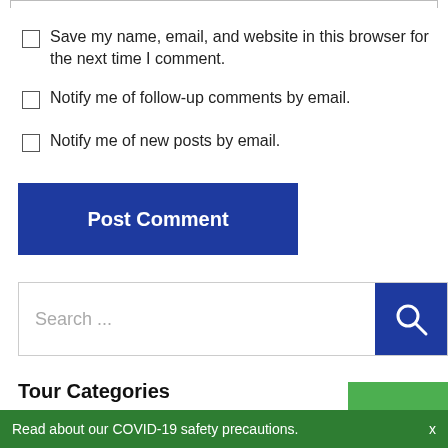Save my name, email, and website in this browser for the next time I comment.
Notify me of follow-up comments by email.
Notify me of new posts by email.
Post Comment
Search ...
Tour Categories
Specialty (16)
Read about our COVID-19 safety precautions.